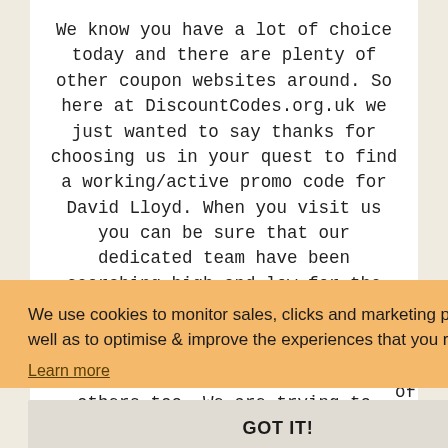We know you have a lot of choice today and there are plenty of other coupon websites around. So here at DiscountCodes.org.uk we just wanted to say thanks for choosing us in your quest to find a working/active promo code for David Lloyd. When you visit us you can be sure that our dedicated team have been searching high and low for the best
We use cookies to monitor sales, clicks and marketing performance as well as to optimise & improve the experiences that you receive.
Learn more
GOT IT!
others too. We are trying to specialise in